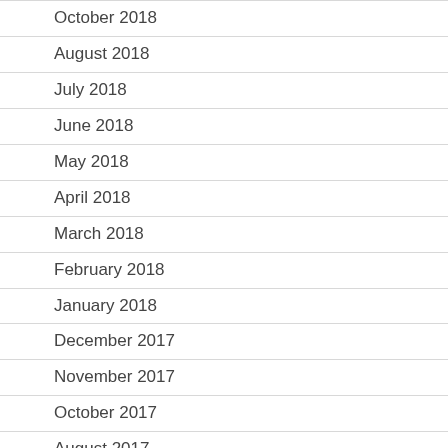October 2018
August 2018
July 2018
June 2018
May 2018
April 2018
March 2018
February 2018
January 2018
December 2017
November 2017
October 2017
August 2017
July 2017
June 2017
May 2017
April 2017
March 2017